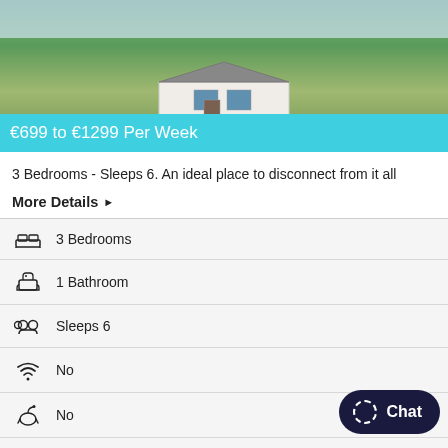[Figure (photo): Aerial or ground-level photo of a white countryside cottage with green fields and stone walls, with an orange badge overlay reading 'Peaceful Countryside Location' and a cyan price bar reading '€699 to €1299 Per Week']
3 Bedrooms - Sleeps 6. An ideal place to disconnect from it all
More Details ▶
3 Bedrooms
1 Bathroom
Sleeps 6
No (WiFi)
No (Pets)
♥♥♥